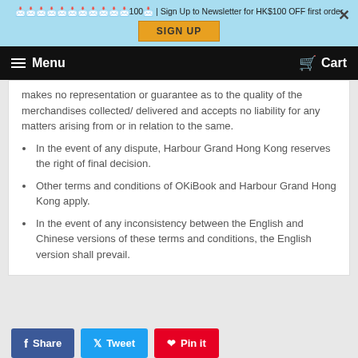Sign Up to Newsletter for HK$100 OFF first order | SIGN UP
Menu  Cart
makes no representation or guarantee as to the quality of the merchandises collected/ delivered and accepts no liability for any matters arising from or in relation to the same.
In the event of any dispute, Harbour Grand Hong Kong reserves the right of final decision.
Other terms and conditions of OKiBook and Harbour Grand Hong Kong apply.
In the event of any inconsistency between the English and Chinese versions of these terms and conditions, the English version shall prevail.